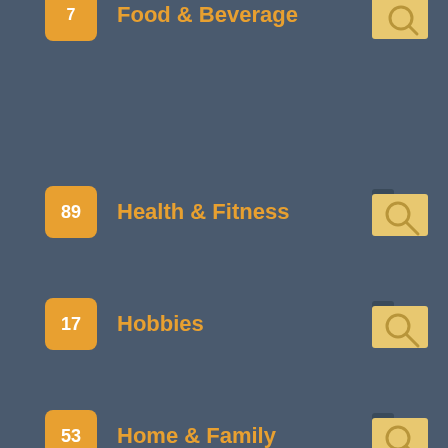Food & Beverage (partially visible at top)
89 Health & Fitness
17 Hobbies
53 Home & Family
41 Internet
1 Jobs (partially visible at bottom)